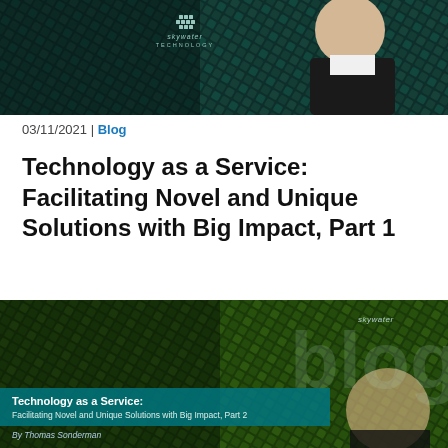[Figure (photo): Header image showing a man in a suit against a dark teal keyboard/circuit board background with SkyWater Technology logo]
03/11/2021 | Blog
Technology as a Service: Facilitating Novel and Unique Solutions with Big Impact, Part 1
By Thomas Sonderman, president and CEO, SkyWater Technology A dynamic world drives our industry. As the world's needs change, our…
[Figure (photo): Second blog card image showing dark green keyboard background with 'skywater blog' text and teal banner reading 'Technology as a Service: Facilitating Novel and Unique Solutions with Big Impact, Part 2' by Thomas Sonderman]